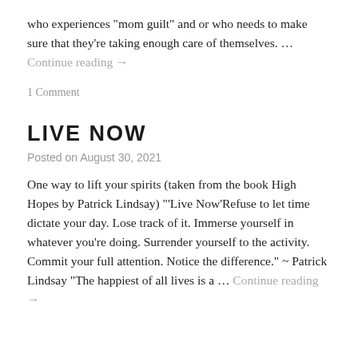who experiences "mom guilt" and or who needs to make sure that they're taking enough care of themselves. … Continue reading →
1 Comment
LIVE NOW
Posted on August 30, 2021
One way to lift your spirits (taken from the book High Hopes by Patrick Lindsay) "'Live Now'Refuse to let time dictate your day. Lose track of it. Immerse yourself in whatever you're doing. Surrender yourself to the activity. Commit your full attention. Notice the difference." ~ Patrick Lindsay "The happiest of all lives is a … Continue reading →